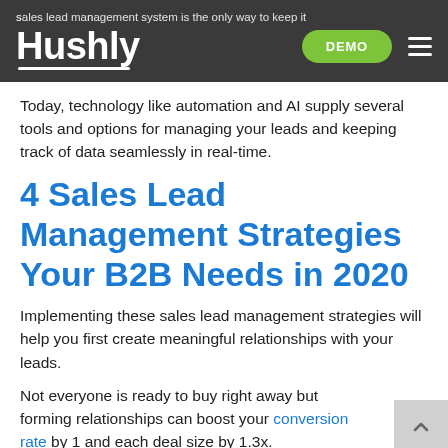sales lead management system is the only way to keep it
Hushly
Today, technology like automation and AI supply several tools and options for managing your leads and keeping track of data seamlessly in real-time.
4 Sales Lead Management Strategies Your B2B Needs in 2020
Implementing these sales lead management strategies will help you first create meaningful relationships with your leads.
Not everyone is ready to buy right away but forming relationships can boost your conversion rate by 1 and each deal size by 1.3x.